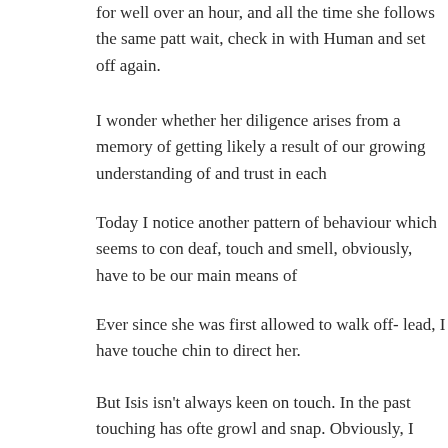for well over an hour, and all the time she follows the same patt wait, check in with Human and set off again.
I wonder whether her diligence arises from a memory of getting likely a result of our growing understanding of and trust in each
Today I notice another pattern of behaviour which seems to con deaf, touch and smell, obviously, have to be our main means of
Ever since she was first allowed to walk off- lead, I have touche chin to direct her.
But Isis isn't always keen on touch. In the past touching has ofte growl and snap. Obviously, I persist. I have to.
I have to touch-guide her quite often today, but not once does sh
We have a brilliant walk.